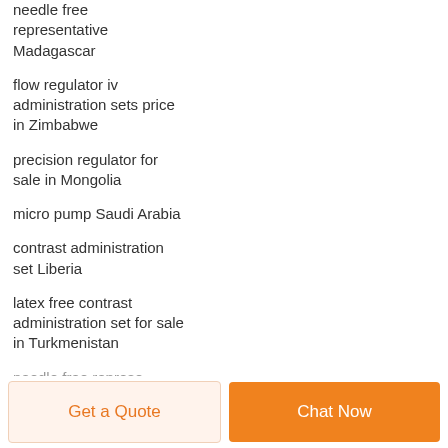needle free representative Madagascar
flow regulator iv administration sets price in Zimbabwe
precision regulator for sale in Mongolia
micro pump Saudi Arabia
contrast administration set Liberia
latex free contrast administration set for sale in Turkmenistan
(partial, cut off at bottom)